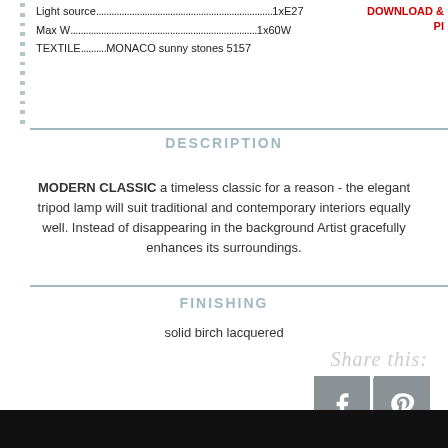Light source....................................................................1xE27
Max W.........................................................................1x60W
TEXTILE..............MONACO sunny stones 5157
DESCRIPTION
MODERN CLASSIC a timeless classic for a reason - the elegant tripod lamp will suit traditional and contemporary interiors equally well. Instead of disappearing in the background Artist gracefully enhances its surroundings.
FINISHING
solid birch lacquered
Share this:
[Figure (other): Facebook and Pinterest social share buttons]